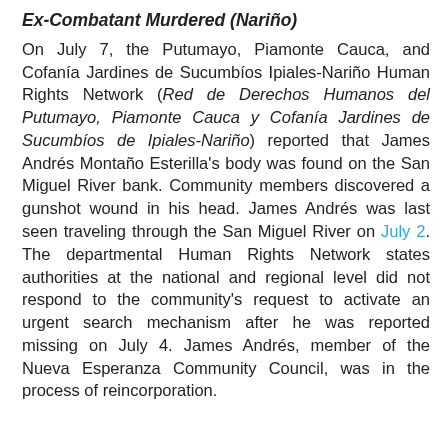Ex-Combatant Murdered (Nariño)
On July 7, the Putumayo, Piamonte Cauca, and Cofanía Jardines de Sucumbíos Ipiales-Nariño Human Rights Network (Red de Derechos Humanos del Putumayo, Piamonte Cauca y Cofanía Jardines de Sucumbíos de Ipiales-Nariño) reported that James Andrés Montaño Esterilla's body was found on the San Miguel River bank. Community members discovered a gunshot wound in his head. James Andrés was last seen traveling through the San Miguel River on July 2. The departmental Human Rights Network states authorities at the national and regional level did not respond to the community's request to activate an urgent search mechanism after he was reported missing on July 4. James Andrés, member of the Nueva Esperanza Community Council, was in the process of reincorporation.